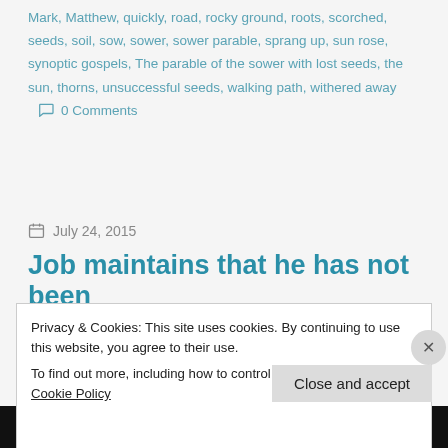Mark, Matthew, quickly, road, rocky ground, roots, scorched, seeds, soil, sow, sower, sower parable, sprang up, sun rose, synoptic gospels, The parable of the sower with lost seeds, the sun, thorns, unsuccessful seeds, walking path, withered away   0 Comments
July 24, 2015
Job maintains that he has not been
Privacy & Cookies: This site uses cookies. By continuing to use this website, you agree to their use.
To find out more, including how to control cookies, see here: Cookie Policy
Close and accept